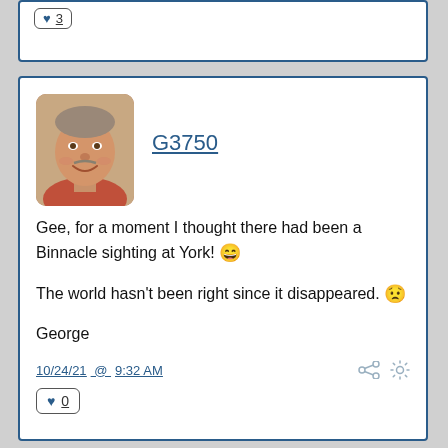[Figure (screenshot): Partial forum post card at top, showing a like button with value 3]
[Figure (screenshot): Forum post card with user avatar photo of older smiling man, username G3750, post text about Binnacle sighting at York, timestamp 10/24/21 @ 9:32 AM, and a like button showing 0]
G3750
Gee, for a moment I thought there had been a Binnacle sighting at York! 😄

The world hasn't been right since it disappeared. 😟

George
10/24/21 @ 9:32 AM
♥ 0